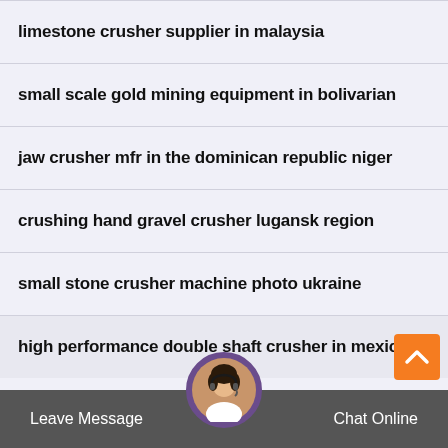limestone crusher supplier in malaysia
small scale gold mining equipment in bolivarian
jaw crusher mfr in the dominican republic niger
crushing hand gravel crusher lugansk region
small stone crusher machine photo ukraine
high performance double shaft crusher in mexico
Leave Message  Chat Online